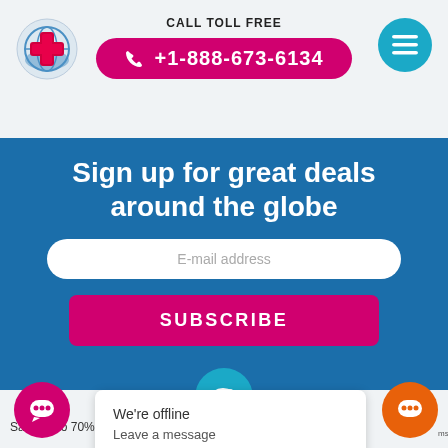CALL TOLL FREE +1-888-673-6134
[Figure (logo): Medical travel insurance logo with red cross and globe]
[Figure (illustration): Teal hamburger menu button]
Sign up for great deals around the globe
E-mail address
SUBSCRIBE
[Figure (illustration): Piggy bank icon in teal circle]
Awesome savings
Save up to 70%...
We're offline
Leave a message